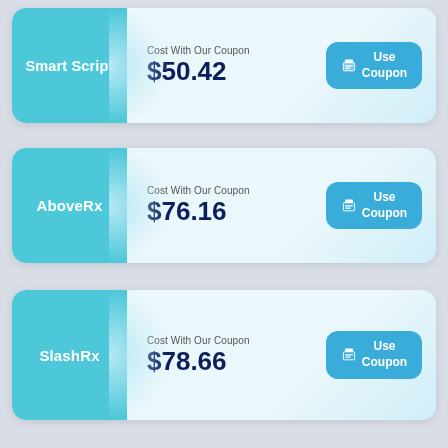[Figure (infographic): Smart Script coupon card showing Cost With Our Coupon $50.42 with a Use Coupon button]
[Figure (infographic): AboveRx coupon card showing Cost With Our Coupon $76.16 with a Use Coupon button]
[Figure (infographic): SlashRx coupon card showing Cost With Our Coupon $78.66 with a Use Coupon button]